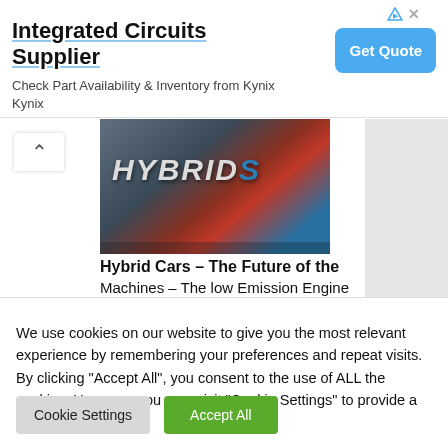[Figure (infographic): Advertisement banner for Integrated Circuits Supplier (Kynix) with title, subtitle, and blue Get Quote button]
Integrated Circuits Supplier
Check Part Availability & Inventory from Kynix Kynix
[Figure (photo): Close-up photo of a car badge reading HYBRID S in silver lettering on a dark metallic surface with red accent]
Hybrid Cars – The Future of the
Machines – The low Emission Engine
We use cookies on our website to give you the most relevant experience by remembering your preferences and repeat visits. By clicking "Accept All", you consent to the use of ALL the cookies. However, you may visit "Cookie Settings" to provide a controlled consent.
Cookie Settings  Accept All